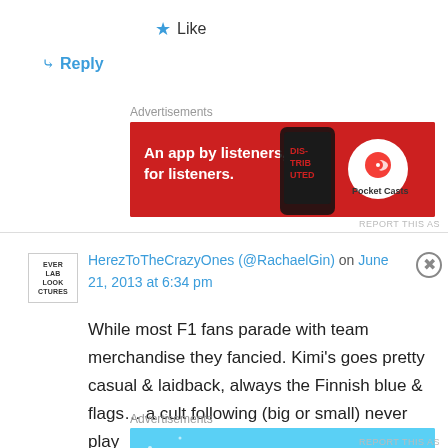★ Like
↪ Reply
Advertisements
[Figure (infographic): Pocket Casts advertisement banner: red background with text 'An app by listeners, for listeners.' and Pocket Casts logo on right, phone image in middle]
REPORT THIS AS
HerezToTheCrazyOnes (@RachaelGin) on June 21, 2013 at 6:34 pm
While most F1 fans parade with team merchandise they fancied. Kimi's goes pretty casual & laidback, always the Finnish blue & flags… a cult following (big or small) never play
Advertisements
[Figure (infographic): Day One journaling app advertisement: blue background with DAY ONE text, app icons, and tagline 'The only journaling app you'll ever need.']
REPORT THIS AS